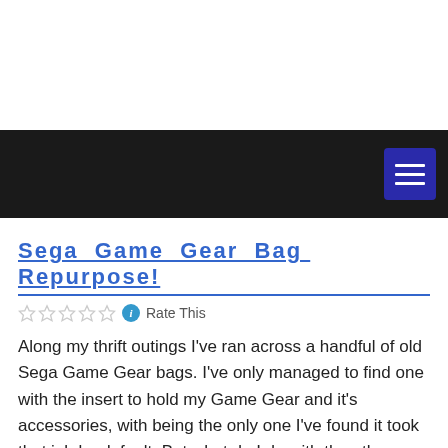Sega Game Gear Bag Repurpose!
Rate This
Along my thrift outings I've ran across a handful of old Sega Game Gear bags. I've only managed to find one with the insert to hold my Game Gear and it's accessories, with being the only one I've found it took that job by default. But what do I do with the other bags without the inserts?